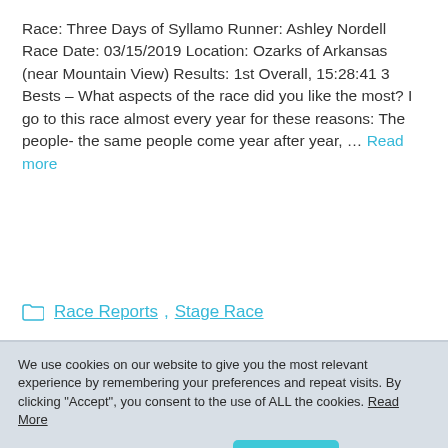Race: Three Days of Syllamo Runner: Ashley Nordell Race Date: 03/15/2019 Location: Ozarks of Arkansas (near Mountain View) Results: 1st Overall, 15:28:41 3 Bests – What aspects of the race did you like the most? I go to this race almost every year for these reasons: The people- the same people come year after year, … Read more
Race Reports, Stage Race
We use cookies on our website to give you the most relevant experience by remembering your preferences and repeat visits. By clicking "Accept", you consent to the use of ALL the cookies. Read More